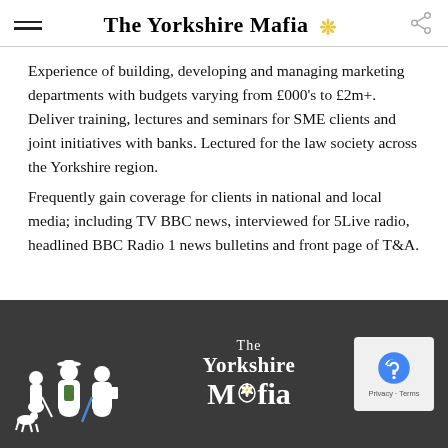The Yorkshire Mafia
Experience of building, developing and managing marketing departments with budgets varying from £000's to £2m+. Deliver training, lectures and seminars for SME clients and joint initiatives with banks. Lectured for the law society across the Yorkshire region.
Frequently gain coverage for clients in national and local media; including TV BBC news, interviewed for 5Live radio, headlined BBC Radio 1 news bulletins and front page of T&A.
[Figure (logo): The Yorkshire Mafia logo in white on dark grey background, showing silhouetted figures and text 'The Yorkshire Mafia' with a Yorkshire rose icon, plus a reCAPTCHA badge.]